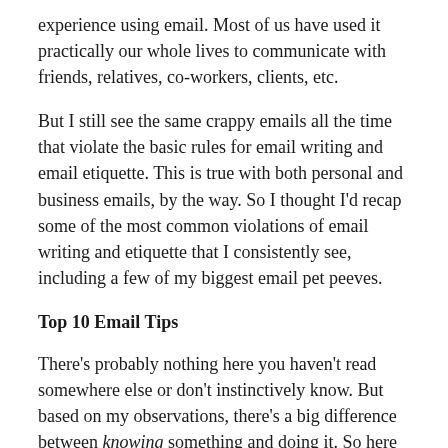experience using email. Most of us have used it practically our whole lives to communicate with friends, relatives, co-workers, clients, etc.
But I still see the same crappy emails all the time that violate the basic rules for email writing and email etiquette. This is true with both personal and business emails, by the way. So I thought I'd recap some of the most common violations of email writing and etiquette that I consistently see, including a few of my biggest email pet peeves.
Top 10 Email Tips
There's probably nothing here you haven't read somewhere else or don't instinctively know. But based on my observations, there's a big difference between knowing something and doing it. So here are my Top 10 tips for writing great emails — and not ticking off your email recipients: